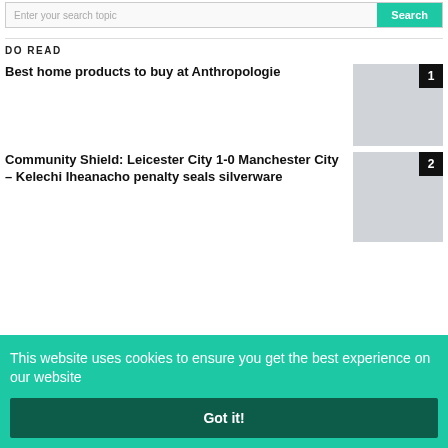Enter your search topic
DO READ
Best home products to buy at Anthropologie
Community Shield: Leicester City 1-0 Manchester City – Kelechi Iheanacho penalty seals silverware
This website uses cookies to ensure you get the best experience on our website
Got it!